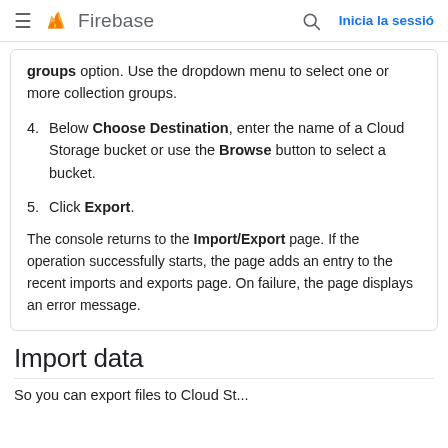Firebase — Inicia la sessió
groups option. Use the dropdown menu to select one or more collection groups.
4. Below Choose Destination, enter the name of a Cloud Storage bucket or use the Browse button to select a bucket.
5. Click Export.
The console returns to the Import/Export page. If the operation successfully starts, the page adds an entry to the recent imports and exports page. On failure, the page displays an error message.
Import data
So you can export files to Cloud St...